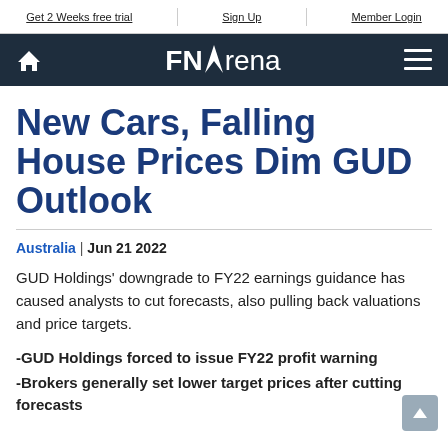Get 2 Weeks free trial | Sign Up | Member Login
[Figure (logo): FNArena website logo and navigation bar with home icon and hamburger menu on dark navy background]
New Cars, Falling House Prices Dim GUD Outlook
Australia | Jun 21 2022
GUD Holdings' downgrade to FY22 earnings guidance has caused analysts to cut forecasts, also pulling back valuations and price targets.
-GUD Holdings forced to issue FY22 profit warning
-Brokers generally set lower target prices after cutting forecasts